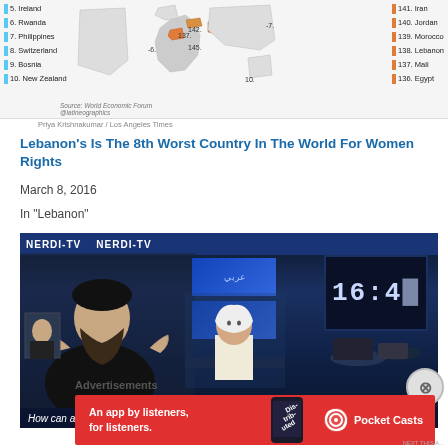[Figure (map): World map showing gender gap rankings. Left list (top 10 best): 5. Ireland, 6. Rwanda, 7. Philippines, 8. Switzerland, 9. Bosnia, 10. New Zealand. Right list (worst): 141. Iran, 140. Jordan, 139. Morocco, 138. Lebanon, 137. Mali, 136. Egypt. Numbers on map: 137, 142, 145, -6, -7, 10. Source: World Economic Forum @latineographics]
Priya Krishnakumar / Los Angeles Times
Lebanon's Is The 8th Worst Country In The World For Women Rights
March 8, 2016
In "Lebanon"
[Figure (screenshot): Screenshot of a TV news broadcast (NERDI-TV) showing a bearded man in black on the left and a female anchor in the center, with Arabic text panels and a clock showing 16:4x. Bottom caption reads: How can a respected sheik like yourself]
Advertisements
[Figure (infographic): Red advertisement banner: An app by listeners, for listeners. Pocket Casts logo on the right with a phone showing Dis-trib-uted text.]